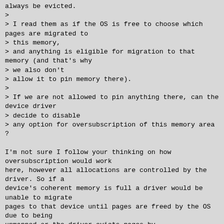always be evicted.
>
> I read them as if the OS is free to choose which pages are migrated to
> this memory,
> and anything is eligible for migration to that memory (and that's why
> we also don't
> allow it to pin memory there).
>
> If we are not allowed to pin anything there, can the device driver
> decide to disable
> any option for oversubscription of this memory area ?

I'm not sure I follow your thinking on how oversubscription would work
here, however all allocations are controlled by the driver. So if a
device's coherent memory is full a driver would be unable to migrate
pages to that device until pages are freed by the OS due to being
unmapped or the driver evicts pages by
migrating them back to normal CPU